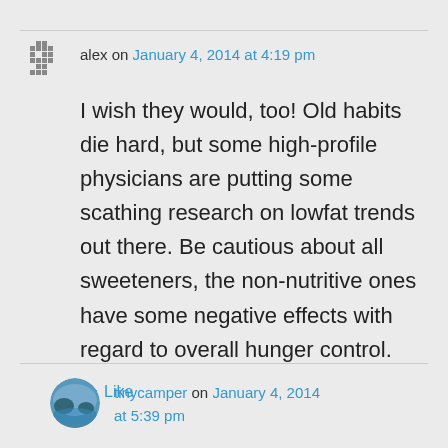alex on January 4, 2014 at 4:19 pm
I wish they would, too! Old habits die hard, but some high-profile physicians are putting some scathing research on lowfat trends out there. Be cautious about all sweeteners, the non-nutritive ones have some negative effects with regard to overall hunger control.
Like
tinycamper on January 4, 2014 at 5:39 pm